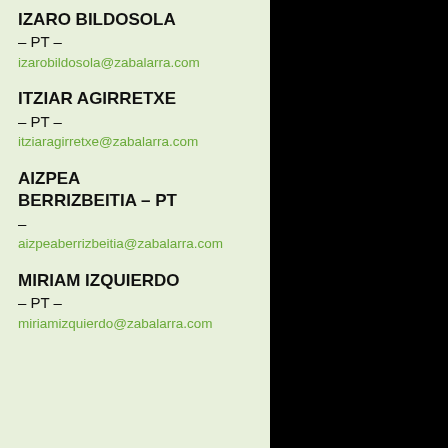IZARO BILDOSOLA
– PT –
izarobildosola@zabalarra.com
ITZIAR AGIRRETXE
– PT –
itziaragirretxe@zabalarra.com
AIZPEA BERRIZBEITIA – PT –
aizpeaberrizbeitia@zabalarra.com
MIRIAM IZQUIERDO
– PT –
miriamizquierdo@zabalarra.com